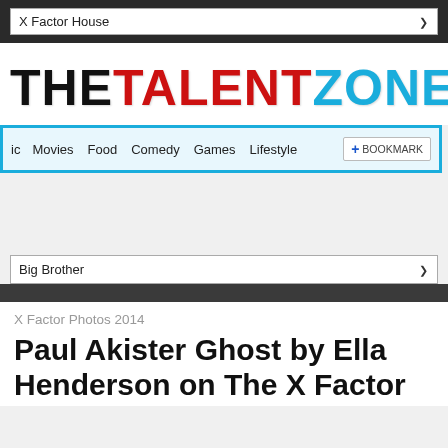X Factor House
[Figure (logo): THE TALENT ZONE logo with THE in black, TALENT in red, ZONE in cyan/blue]
ic  Movies  Food  Comedy  Games  Lifestyle  BOOKMARK
Big Brother
X Factor Photos 2014
Paul Akister Ghost by Ella Henderson on The X Factor